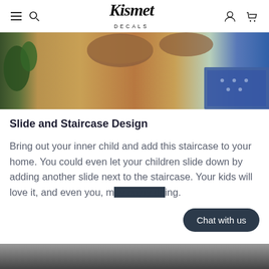Kismet DECALS
[Figure (photo): Partial photo of a wooden floor with a plant and a blue patterned rug visible in a home interior setting]
Slide and Staircase Design
Bring out your inner child and add this staircase to your home. You could even let your children slide down by adding another slide next to the staircase. Your kids will love it, and even you, may enjoy doing.
[Figure (screenshot): Chat with us button overlay (dark rounded pill button)]
[Figure (photo): Bottom portion of another product photo, partially visible at the bottom of the page]